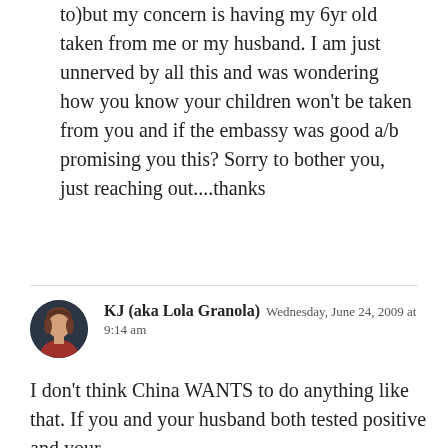to)but my concern is having my 6yr old taken from me or my husband. I am just unnerved by all this and was wondering how you know your children won't be taken from you and if the embassy was good a/b promising you this? Sorry to bother you, just reaching out....thanks
KJ (aka Lola Granola)  Wednesday, June 24, 2009 at 9:14 am
I don't think China WANTS to do anything like that. If you and your husband both tested positive and your